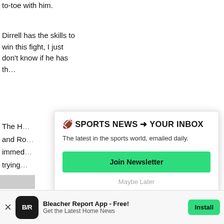to-toe with him.
Dirrell has the skills to win this fight, I just don't know if he has th…
The H… and Ro… immed… trying…
I love … natura…
[Figure (infographic): Newsletter signup popup overlay: headline '🏈 SPORTS NEWS → YOUR INBOX', subtext 'The latest in the sports world, emailed daily.', green 'Join Newsletter' button, and 'Maybe Later' link.]
[Figure (infographic): Bleacher Report app install banner at bottom: B/R logo, 'Bleacher Report App - Free!' title, 'Get the Latest Home News' subtitle, green 'Install' button, and close X button.]